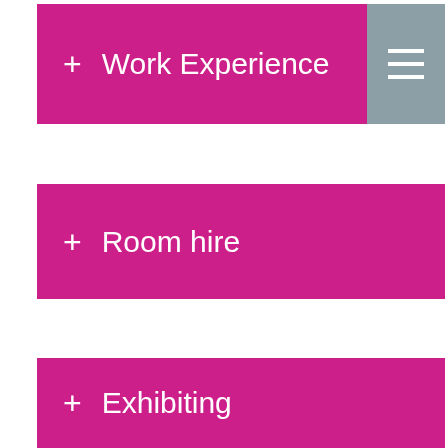+ Work Experience
+ Room hire
+ Exhibiting
+ Thelma Hulbert
+ Sustainability
+ Valuations